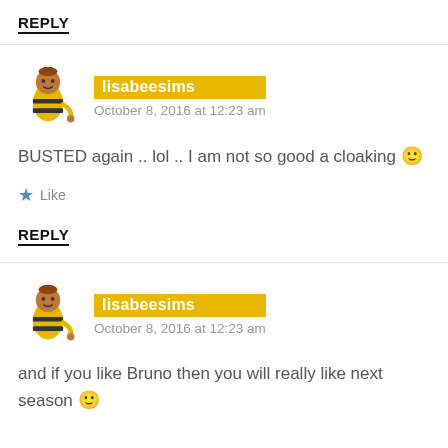REPLY
lisabeesims
October 8, 2016 at 12:23 am
BUSTED again .. lol .. I am not so good a cloaking 🙂
Like
REPLY
lisabeesims
October 8, 2016 at 12:23 am
and if you like Bruno then you will really like next season 🙂